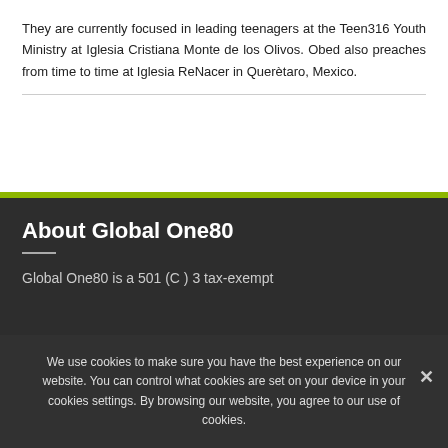They are currently focused in leading teenagers at the Teen316 Youth Ministry at Iglesia Cristiana Monte de los Olivos. Obed also preaches from time to time at Iglesia ReNacer in Querètaro, Mexico.
About Global One80
Global One80 is a 501 (C ) 3 tax-exempt
We use cookies to make sure you have the best experience on our website. You can control what cookies are set on your device in your cookies settings. By browsing our website, you agree to our use of cookies.